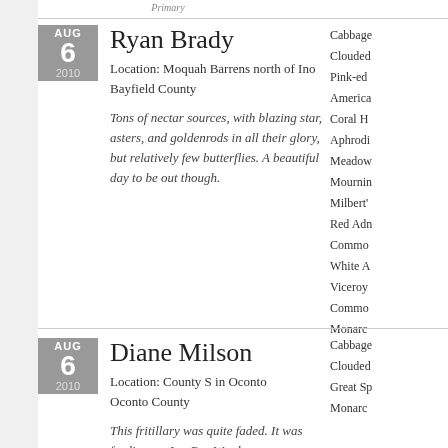Primary
Ryan Brady
Location: Moquah Barrens north of Ino
Bayfield County

Tons of nectar sources, with blazing star, asters, and goldenrods in all their glory, but relatively few butterflies. A beautiful day to be out though.
Cabbage
Clouded
Pink-edged
American
Coral H
Aphrodite
Meadow
Mourning
Milbert's
Red Admiral
Common
White Admiral
Viceroy
Common
Monarch
Diane Milson
Location: County S in Oconto
Oconto County

This fritillary was quite faded. It was feeding on Joe-Pye Weed.
Cabbage
Clouded
Great Spangled
Monarch